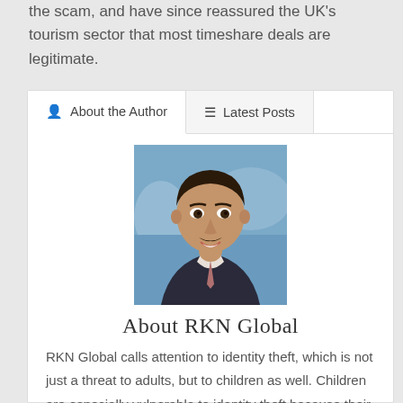the scam, and have since reassured the UK's tourism sector that most timeshare deals are legitimate.
About the Author
Latest Posts
[Figure (photo): Headshot of a middle-aged man with short dark hair and a mustache, wearing a suit, smiling, with a blurred outdoor background.]
About RKN Global
RKN Global calls attention to identity theft, which is not just a threat to adults, but to children as well. Children are especially vulnerable to identity theft because their more limited financial interactions can